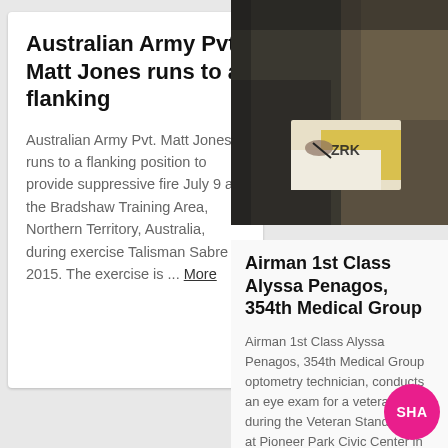Australian Army Pvt. Matt Jones runs to a flanking
Australian Army Pvt. Matt Jones runs to a flanking position to provide suppressive fire July 9 at the Bradshaw Training Area, Northern Territory, Australia, during exercise Talisman Sabre 2015. The exercise is ... More
[Figure (photo): Dark photo of a person writing on paper with yellow and white documents visible, taken indoors]
Airman 1st Class Alyssa Penagos, 354th Medical Group
Airman 1st Class Alyssa Penagos, 354th Medical Group optometry technician, conducts an eye exam for a veteran during the Veteran Stand Down at Pioneer Park Civic Center in Fairbanks, Alaska, Aug. 15, 2015. (Air... More